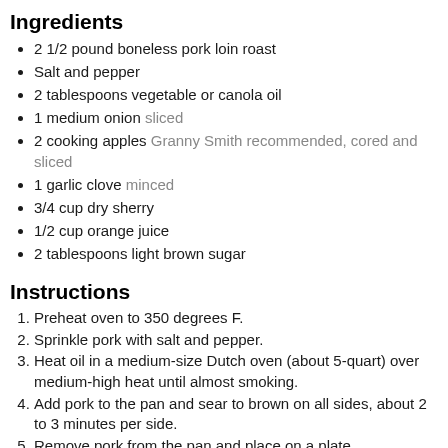Ingredients
2 1/2 pound boneless pork loin roast
Salt and pepper
2 tablespoons vegetable or canola oil
1 medium onion sliced
2 cooking apples Granny Smith recommended, cored and sliced
1 garlic clove minced
3/4 cup dry sherry
1/2 cup orange juice
2 tablespoons light brown sugar
Instructions
1. Preheat oven to 350 degrees F.
2. Sprinkle pork with salt and pepper.
3. Heat oil in a medium-size Dutch oven (about 5-quart) over medium-high heat until almost smoking.
4. Add pork to the pan and sear to brown on all sides, about 2 to 3 minutes per side.
5. Remove pork from the pan and place on a plate.
6. Reduce heat to medium and add onion. Cook until onions have softened, about 5 minutes.
7. Add garlic. Stir and cook for 1 minute.
8. Stir together sherry, orange juice, and brown sugar.
9. Return pork to the pan along with apple slices and sherry mixture. Cover and place in the oven.
10. Roast for 1 1/2 hours, or until pork has an internal temperature of...